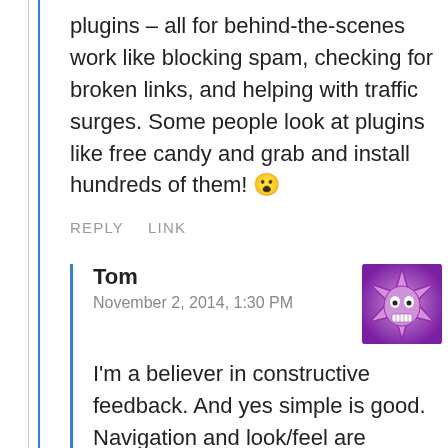plugins – all for behind-the-scenes work like blocking spam, checking for broken links, and helping with traffic surges. Some people look at plugins like free candy and grab and install hundreds of them! 😮
REPLY   LINK
Tom
November 2, 2014, 1:30 PM
I'm a believer in constructive feedback. And yes simple is good. Navigation and look/feel are important of course, but getting